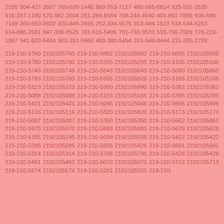2105 004-427-3557 769-028-1445 880-553-7117 480-565-6814 925-552-3535 916-397-1190 570-982-2604 281-268-6564 708-248-4540 403-851-7886 509-688-7149 360-663-9832 320-845-2865 252-334-9575 913-484-1623 518-534-5293 614-888-2681 847-306-8525 781-615-5496 781-730-9533 503-750-7509 778-229-1997 941-623-5434 902-351-9968 480-380-5454 319-849-8444 215-265-2709
219-210-5760 2192105760 219-210-5882 2192105882 219-210-5895 2192105895 219-210-5780 2192105780 219-210-5295 2192105295 219-210-5105 2192105105 219-210-5749 2192105749 219-210-5843 2192105843 219-210-5860 2192105860 219-210-5783 2192105783 219-210-5926 2192105926 219-210-5166 2192105166 219-210-5323 2192105323 219-210-5990 2192105990 219-210-5362 2192105362 219-210-5088 2192105088 219-210-5155 2192105155 219-210-5385 2192105385 219-210-5421 2192105421 219-210-5046 2192105046 219-210-5896 2192105896 219-210-5116 2192105116 219-210-5820 2192105820 219-210-5173 2192105173 219-210-5007 2192105007 219-210-5350 2192105350 219-210-5962 2192105962 219-210-5970 2192105970 219-210-5883 2192105883 219-210-5629 2192105629 219-210-5195 2192105195 219-210-5039 2192105039 219-210-5422 2192105422 219-210-5285 2192105285 219-210-5826 2192105826 219-210-5681 2192105681 219-210-5314 2192105314 219-210-5796 2192105796 219-210-5428 2192105428 219-210-5491 2192105491 219-210-5073 2192105073 219-210-5713 2192105713 219-210-5574 2192105574 219-210-5201 2192105201 219-210-